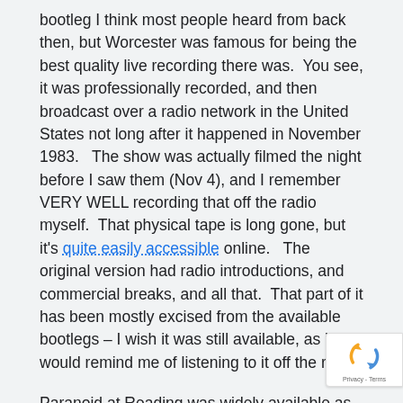bootleg I think most people heard from back then, but Worcester was famous for being the best quality live recording there was.  You see, it was professionally recorded, and then broadcast over a radio network in the United States not long after it happened in November 1983.   The show was actually filmed the night before I saw them (Nov 4), and I remember VERY WELL recording that off the radio myself.  That physical tape is long gone, but it's quite easily accessible online.   The original version had radio introductions, and commercial breaks, and all that.  That part of it has been mostly excised from the available bootlegs – I wish it was still available, as it would remind me of listening to it off the radio.
Paranoid at Reading was widely available as a bootleg but now comprises the bulk of Disc 2 of the Deluxe Edition of Born Again.
[Figure (other): reCAPTCHA badge with rotating arrows logo and Privacy - Terms text]